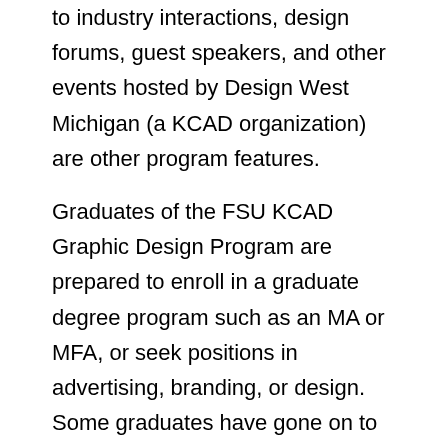to industry interactions, design forums, guest speakers, and other events hosted by Design West Michigan (a KCAD organization) are other program features.
Graduates of the FSU KCAD Graphic Design Program are prepared to enroll in a graduate degree program such as an MA or MFA, or seek positions in advertising, branding, or design. Some graduates have gone on to establish successful freelance careers, while others have launched their own studios or taken on leadership roles in a variety of in-house design departments.
Ferris State University is accredited by the Higher Learning Commission (HLC). Established in 1894,